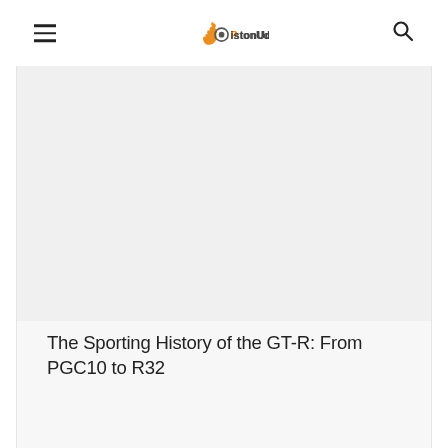PistonUdos
[Figure (photo): Large image placeholder area, light gray background, article hero image]
The Sporting History of the GT-R: From PGC10 to R32